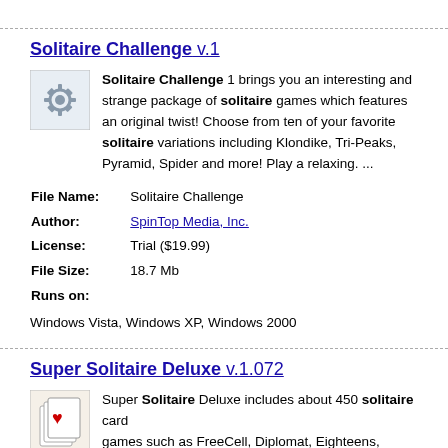Solitaire Challenge  v.1
Solitaire Challenge 1 brings you an interesting and strange package of solitaire games which features an original twist! Choose from ten of your favorite solitaire variations including Klondike, Tri-Peaks, Pyramid, Spider and more! Play a relaxing. ...
| File Name: | Solitaire Challenge |
| Author: | SpinTop Media, Inc. |
| License: | Trial ($19.99) |
| File Size: | 18.7 Mb |
| Runs on: | Windows Vista, Windows XP, Windows 2000 |
Super Solitaire Deluxe  v.1.072
Super Solitaire Deluxe includes about 450 solitaire card games such as FreeCell, Diplomat, Eighteens, Flower